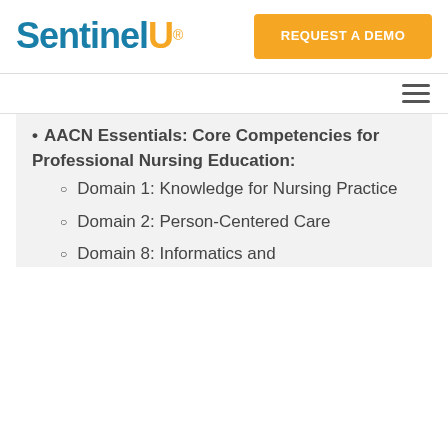Sentinel U® REQUEST A DEMO
AACN Essentials: Core Competencies for Professional Nursing Education:
Domain 1: Knowledge for Nursing Practice
Domain 2: Person-Centered Care
Domain 8: Informatics and